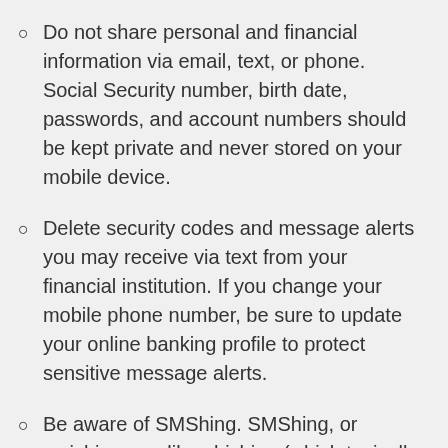Do not share personal and financial information via email, text, or phone. Social Security number, birth date, passwords, and account numbers should be kept private and never stored on your mobile device.
Delete security codes and message alerts you may receive via text from your financial institution. If you change your mobile phone number, be sure to update your online banking profile to protect sensitive message alerts.
Be aware of SMShing. SMShing, or smishing, are like phishing (which typically happens via email) but take place via SMS text message. A criminal sends you a text message that